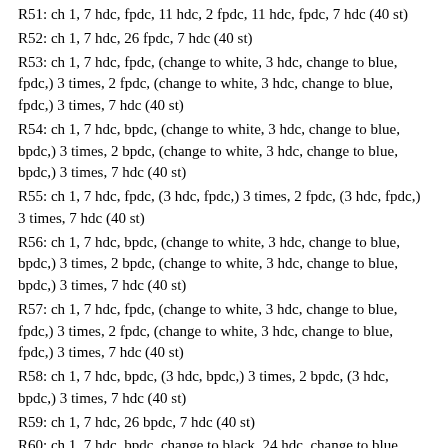R51: ch 1, 7 hdc, fpdc, 11 hdc, 2 fpdc, 11 hdc, fpdc, 7 hdc (40 st)
R52: ch 1, 7 hdc, 26 fpdc, 7 hdc (40 st)
R53: ch 1, 7 hdc, fpdc, (change to white, 3 hdc, change to blue, fpdc,) 3 times, 2 fpdc, (change to white, 3 hdc, change to blue, fpdc,) 3 times, 7 hdc (40 st)
R54: ch 1, 7 hdc, bpdc, (change to white, 3 hdc, change to blue, bpdc,) 3 times, 2 bpdc, (change to white, 3 hdc, change to blue, bpdc,) 3 times, 7 hdc (40 st)
R55: ch 1, 7 hdc, fpdc, (3 hdc, fpdc,) 3 times, 2 fpdc, (3 hdc, fpdc,) 3 times, 7 hdc (40 st)
R56: ch 1, 7 hdc, bpdc, (change to white, 3 hdc, change to blue, bpdc,) 3 times, 2 bpdc, (change to white, 3 hdc, change to blue, bpdc,) 3 times, 7 hdc (40 st)
R57: ch 1, 7 hdc, fpdc, (change to white, 3 hdc, change to blue, fpdc,) 3 times, 2 fpdc, (change to white, 3 hdc, change to blue, fpdc,) 3 times, 7 hdc (40 st)
R58: ch 1, 7 hdc, bpdc, (3 hdc, bpdc,) 3 times, 2 bpdc, (3 hdc, bpdc,) 3 times, 7 hdc (40 st)
R59: ch 1, 7 hdc, 26 bpdc, 7 hdc (40 st)
R60: ch 1, 7 hdc, bpdc, change to black, 24 hdc, change to blue, bpdc, 7 hdc (40 st)
R61: ch 1, 7 hdc, fpdc, change to black, 24 hdc, change to blue, fpdc, 7 hdc (40 st)